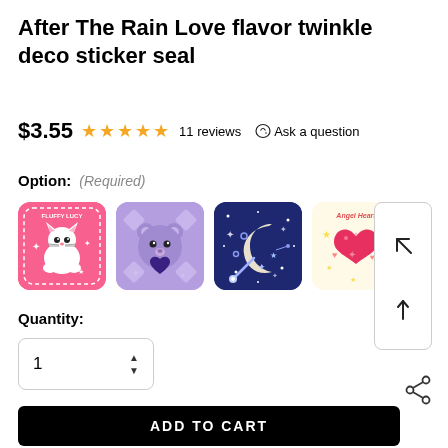After The Rain Love flavor twinkle deco sticker seal
$3.55  ★★★★★  11 reviews  Ask a question
Option: (Required)
[Figure (illustration): Four sticker thumbnail options: 1) Fluffy Lucy pink cat sticker, 2) Purple bear heart sticker, 3) Dark blue moon night sticker, 4) Angel Heart pink heart on yellow background sticker]
Quantity:
1
ADD TO CART